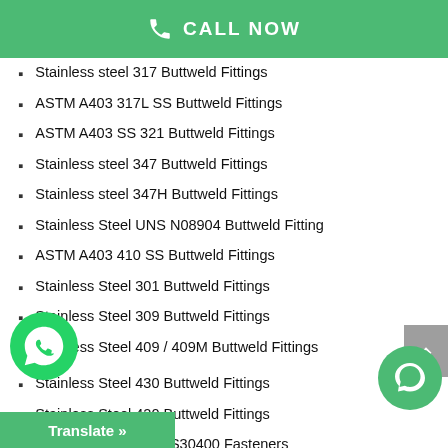CALL NOW
Stainless steel 317 Buttweld Fittings
ASTM A403 317L SS Buttweld Fittings
ASTM A403 SS 321 Buttweld Fittings
Stainless steel 347 Buttweld Fittings
Stainless steel 347H Buttweld Fittings
Stainless Steel UNS N08904 Buttweld Fitting
ASTM A403 410 SS Buttweld Fittings
Stainless Steel 301 Buttweld Fittings
Stainless Steel 309 Buttweld Fittings
Stainless Steel 409 / 409M Buttweld Fittings
Stainless Steel 430 Buttweld Fittings
Stainless Steel 420 Buttweld Fittings
Stainless Steel UNS S30400 Fasteners
Stainless steel 304L Fasteners
0 Fasteners